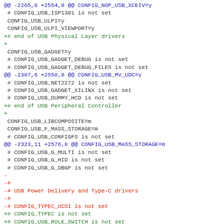@@ -2265,6 +2554,8 @@ CONFIG_NOP_USB_XCEIV=y
 # CONFIG_USB_ISP1301 is not set
 CONFIG_USB_ULPI=y
 CONFIG_USB_ULPI_VIEWPORT=y
+# end of USB Physical Layer drivers
+
 CONFIG_USB_GADGET=y
 # CONFIG_USB_GADGET_DEBUG is not set
 # CONFIG_USB_GADGET_DEBUG_FILES is not set
@@ -2307,6 +2558,8 @@ CONFIG_USB_MV_UDC=y
 # CONFIG_USB_NET2272 is not set
 # CONFIG_USB_GADGET_XILINX is not set
 # CONFIG_USB_DUMMY_HCD is not set
+# end of USB Peripheral Controller
+
 CONFIG_USB_LIBCOMPOSITE=m
 CONFIG_USB_F_MASS_STORAGE=m
 # CONFIG_USB_CONFIGFS is not set
@@ -2323,11 +2576,8 @@ CONFIG_USB_MASS_STORAGE=m
 # CONFIG_USB_G_MULTI is not set
 # CONFIG_USB_G_HID is not set
 # CONFIG_USB_G_DBGP is not set
-
-#
-# USB Power Delivery and Type-C drivers
-#
-# CONFIG_TYPEC_UCSI is not set
+# CONFIG_TYPEC is not set
+# CONFIG_USB_ROLE_SWITCH is not set
 # CONFIG_USB_LED_TRIG is not set
 # CONFIG_USB_ULPI_BUS is not set